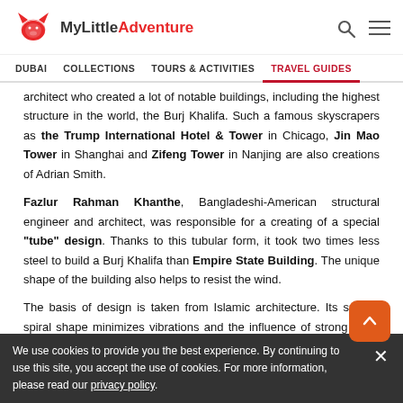MyLittleAdventure
DUBAI | COLLECTIONS | TOURS & ACTIVITIES | TRAVEL GUIDES
architect who created a lot of notable buildings, including the highest structure in the world, the Burj Khalifa. Such a famous skyscrapers as the Trump International Hotel & Tower in Chicago, Jin Mao Tower in Shanghai and Zifeng Tower in Nanjing are also creations of Adrian Smith.
Fazlur Rahman Khanthe, Bangladeshi-American structural engineer and architect, was responsible for a creating of a special "tube" design. Thanks to this tubular form, it took two times less steel to build a Burj Khalifa than Empire State Building. The unique shape of the building also helps to resist the wind.
The basis of design is taken from Islamic architecture. Its special spiral shape minimizes vibrations and the influence of strong wind. The structure ends with a spire, which is today the longest in
We use cookies to provide you the best experience. By continuing to use this site, you accept the use of cookies. For more information, please read our privacy policy.